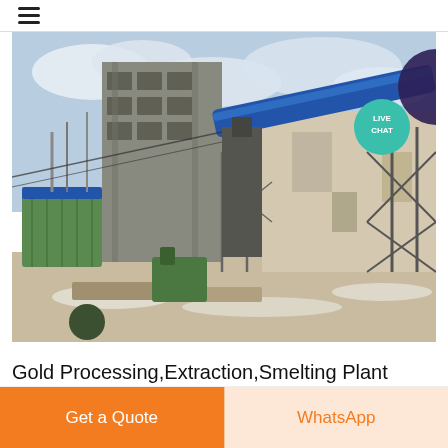☰ (hamburger menu)
[Figure (photo): Industrial gold processing and smelting plant exterior showing large factory building with blue conveyor belt/pipe running diagonally, green dust collection filters on left, metal scaffolding and support structures, debris and snow on ground, cloudy sky. Live Chat badge overlay in top right corner.]
Gold Processing,Extraction,Smelting Plant Design ,
Get a Quote
WhatsApp